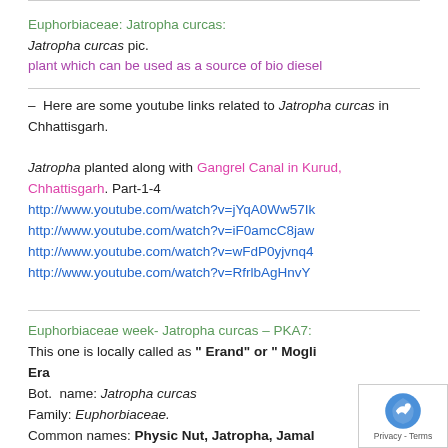Euphorbiaceae: Jatropha curcas:
Jatropha curcas pic.
plant which can be used as a source of bio diesel
– Here are some youtube links related to Jatropha curcas in Chhattisgarh.
Jatropha planted along with Gangrel Canal in Kurud, Chhattisgarh. Part-1-4
http://www.youtube.com/watch?v=jYqA0Ww57Ik
http://www.youtube.com/watch?v=iF0amcC8jaw
http://www.youtube.com/watch?v=wFdP0yjvnq4
http://www.youtube.com/watch?v=RfrlbAgHnvY
Euphorbiaceae week- Jatropha curcas – PKA7:
This one is locally called as " Erand" or " Mogli Era…
Bot.  name: Jatropha curcas
Family: Euphorbiaceae.
Common names: Physic Nut, Jatropha, Jamal ghota…